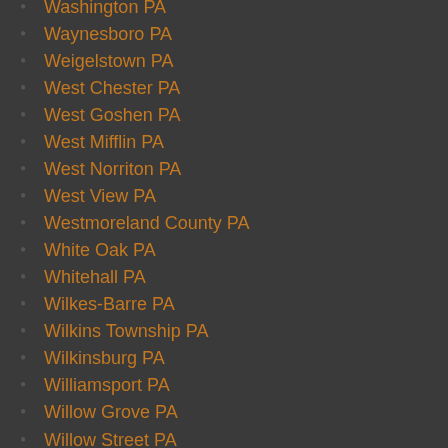Washington PA
Waynesboro PA
Weigelstown PA
West Chester PA
West Goshen PA
West Mifflin PA
West Norriton PA
West View PA
Westmoreland County PA
White Oak PA
Whitehall PA
Wilkes-Barre PA
Wilkins Township PA
Wilkinsburg PA
Williamsport PA
Willow Grove PA
Willow Street PA
Wilson PA
Woodlyn PA
Wyomissing PA
Yeadon PA
York County PA